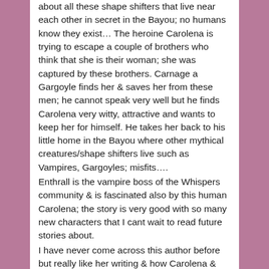about all these shape shifters that live near each other in secret in the Bayou; no humans know they exist… The heroine Carolena is trying to escape a couple of brothers who think that she is their woman; she was captured by these brothers. Carnage a Gargoyle finds her & saves her from these men; he cannot speak very well but he finds Carolena very witty, attractive and wants to keep her for himself. He takes her back to his little home in the Bayou where other mythical creatures/shape shifters live such as Vampires, Gargoyles; misfits….
Enthrall is the vampire boss of the Whispers community & is fascinated also by this human Carolena; the story is very good with so many new characters that I cant wait to read future stories about.
I have never come across this author before but really like her writing & how Carolena & Carnage develop their relationship in spite of their obvious differences; a big thumbs up….
[Figure (other): A dark button/link element at the bottom of the review content area]